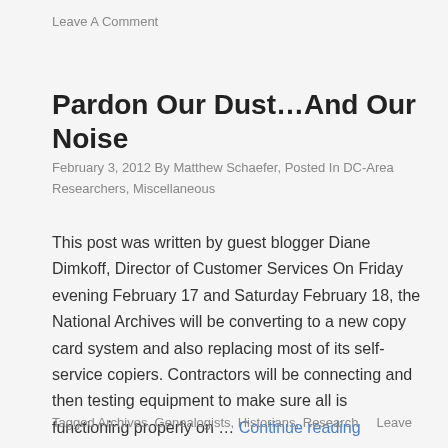Leave A Comment
Pardon Our Dust…And Our Noise
February 3, 2012 By Matthew Schaefer, Posted In DC-Area Researchers, Miscellaneous
This post was written by guest blogger Diane Dimkoff, Director of Customer Services On Friday evening February 17 and Saturday February 18, the National Archives will be converting to a new copy card system and also replacing most of its self-service copiers. Contractors will be connecting and then testing equipment to make sure all is functioning properly on … Continue reading
Tagged Archives, Genealogists, Historians, Research … Leave